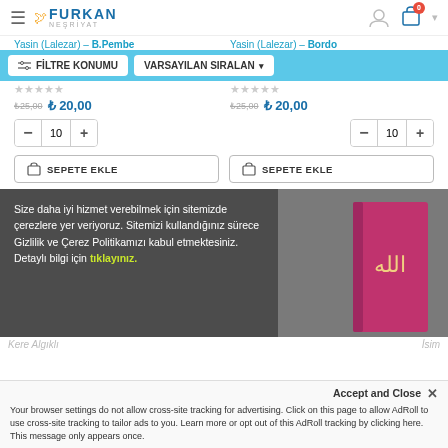Furkan Neşriyat - Shopping site header with logo, hamburger menu, user icon, cart (0 items)
Yasin (Lalezar) – B.Pembe
Yasin (Lalezar) – Bordo
[Figure (screenshot): Filter bar with FİLTRE KONUMU button and VARSAYILAN SIRALANMA dropdown on blue background]
₺25,00  ₺ 20,00  (left product)
₺25,00  ₺ 20,00  (right product)
− 10 + (quantity selector left)
− 10 + (quantity selector right)
SEPETE EKLE
SEPETE EKLE
Size daha iyi hizmet verebilmek için sitemizde çerezlere yer veriyoruz. Sitemizi kullandığınız sürece Gizlilik ve Çerez Politikamızı kabul etmektesiniz. Detaylı bilgi için tıklayınız.
Accept and Close ✕
Your browser settings do not allow cross-site tracking for advertising. Click on this page to allow AdRoll to use cross-site tracking to tailor ads to you. Learn more or opt out of this AdRoll tracking by clicking here. This message only appears once.